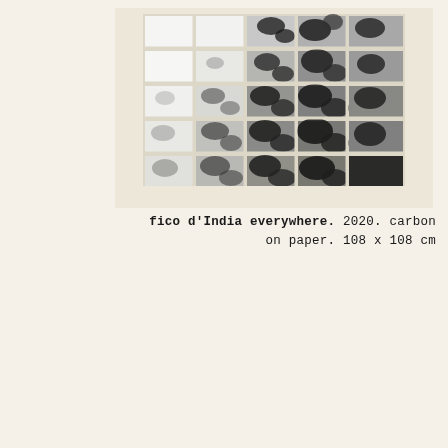[Figure (photo): A black and white artwork displayed on a beige/cream wall. The artwork consists of a 5x5 grid of paper sheets arranged in a square, showing a large-scale carbon drawing of prickly pear cactus (fico d'India) leaves and pads. The left portion of the grid shows lighter/white sheets while the right and lower portions show dense dark carbon marks depicting the cactus foliage. The overall composition is approximately square at 108 x 108 cm.]
fico d'India everywhere. 2020. carbon on paper. 108 x 108 cm